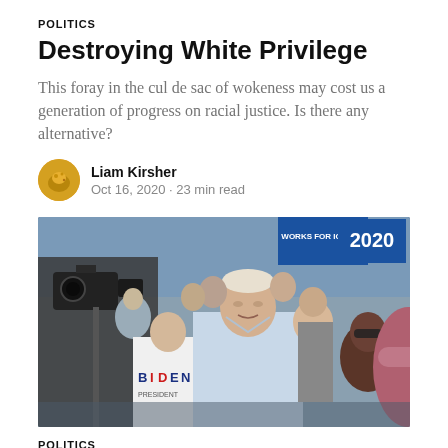POLITICS
Destroying White Privilege
This foray in the cul de sac of wokeness may cost us a generation of progress on racial justice. Is there any alternative?
Liam Kirsher
Oct 16, 2020 · 23 min read
[Figure (photo): Joe Biden walking through a crowd of supporters at a campaign event in Iowa. A person wearing a Biden for President t-shirt is visible on the left. Blue campaign signs reading 'WORKS FOR IOWA' and '2020' are visible in the background.]
POLITICS